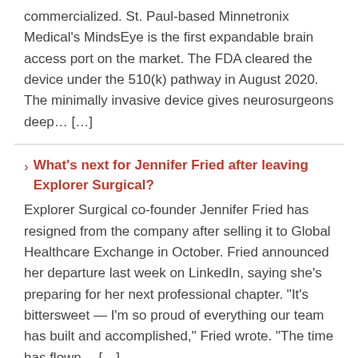commercialized. St. Paul-based Minnetronix Medical's MindsEye is the first expandable brain access port on the market. The FDA cleared the device under the 510(k) pathway in August 2020. The minimally invasive device gives neurosurgeons deep… […]
What's next for Jennifer Fried after leaving Explorer Surgical?
Explorer Surgical co-founder Jennifer Fried has resigned from the company after selling it to Global Healthcare Exchange in October. Fried announced her departure last week on LinkedIn, saying she's preparing for her next professional chapter. "It's bittersweet — I'm so proud of everything our team has built and accomplished," Fried wrote. "The time has flown… […]